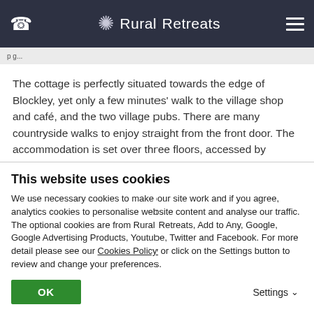Rural Retreats
The cottage is perfectly situated towards the edge of Blockley, yet only a few minutes' walk to the village shop and café, and the two village pubs. There are many countryside walks to enjoy straight from the front door. The accommodation is set over three floors, accessed by traditionally curved and quite steeps stairways; and the cottage has a delightful, enclosed garden with a small patio area and a sheltered cabin. There is parking on the road next
This website uses cookies
We use necessary cookies to make our site work and if you agree, analytics cookies to personalise website content and analyse our traffic.  The optional cookies are from Rural Retreats, Add to Any, Google, Google Advertising Products, Youtube, Twitter and Facebook. For more detail please see our Cookies Policy or click on the Settings button to review and change your preferences.